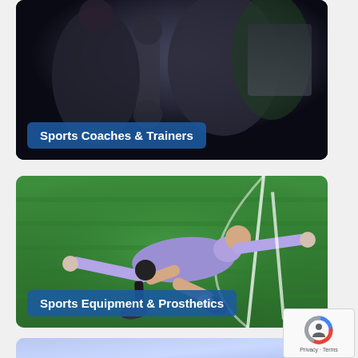[Figure (photo): Dark gym/boxing training scene with coaches or trainers, partially visible at top of page]
Sports Coaches & Trainers
[Figure (photo): Person with a prosthetic leg lying on a green artificial turf sports field with arms spread wide, wearing purple clothing]
Sports Equipment & Prosthetics
[Figure (photo): Partially visible blue/purple gradient card at the bottom of the page]